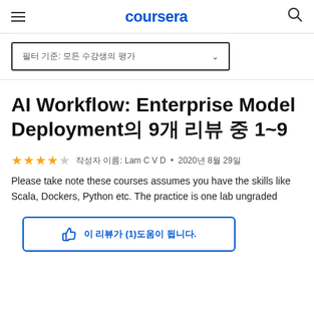coursera
필터 기준: 모든 수강생의 평가
AI Workflow: Enterprise Model Deployment의 9개 리뷰 중 1~9
★★★★☆  작성자 이름: Lam C V D · 2020년 8월 29일
Please take note these courses assumes you have the skills like Scala, Dockers, Python etc. The practice is one lab ungraded
이 리뷰가 (1)도움이 됩니다.